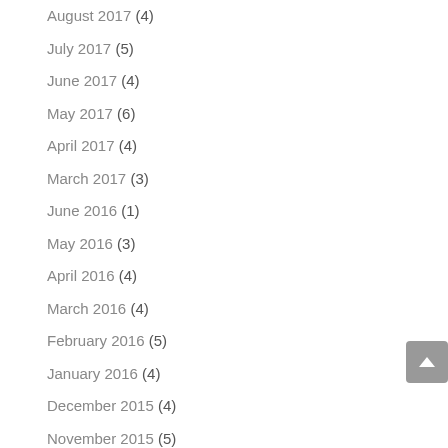August 2017 (4)
July 2017 (5)
June 2017 (4)
May 2017 (6)
April 2017 (4)
March 2017 (3)
June 2016 (1)
May 2016 (3)
April 2016 (4)
March 2016 (4)
February 2016 (5)
January 2016 (4)
December 2015 (4)
November 2015 (5)
October 2015 (4)